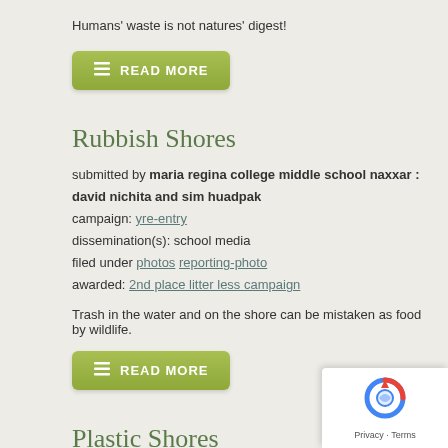Humans' waste is not natures' digest!
[Figure (other): Green 'READ MORE' button with list icon]
Rubbish Shores
submitted by maria regina college middle school naxxar : david nichita and sim huadpak
campaign: yre-entry
dissemination(s): school media
filed under photos reporting-photo
awarded: 2nd place litter less campaign
Trash in the water and on the shore can be mistaken as food by wildlife.
[Figure (other): Green 'READ MORE' button with list icon]
Plastic Shores
submitted by maria regina college middle school naxxar : thea frendo  for
campaign: yre-entry
dissemination(s): school media
filed under photos reporting-photo